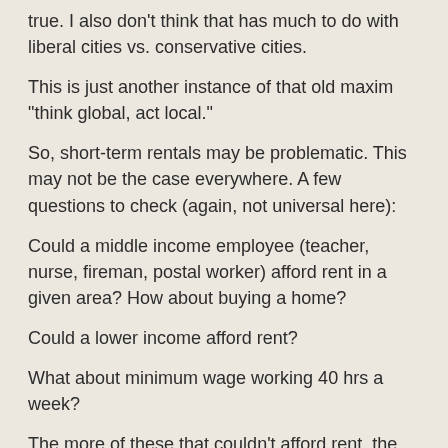true. I also don't think that has much to do with liberal cities vs. conservative cities.
This is just another instance of that old maxim "think global, act local."
So, short-term rentals may be problematic. This may not be the case everywhere. A few questions to check (again, not universal here):
Could a middle income employee (teacher, nurse, fireman, postal worker) afford rent in a given area? How about buying a home?
Could a lower income afford rent?
What about minimum wage working 40 hrs a week?
The more of these that couldn't afford rent, the more likely it is that short-term rentals are problematic.
There is probably a similar calculus to determine if short-term rentals are profitable.
These are also questions local governments should ask themselves too.